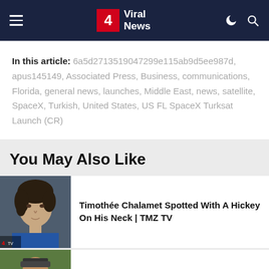4 Viral News
In this article: 6a5d2713519047299e115ab9d5ee987d, apus145149, Associated Press, Business, communications, Florida, general news, launches, Middle East, news, satellite, SpaceX, Turkish, United States, US FL SpaceX Turksat Launch (CR)
You May Also Like
[Figure (photo): Photo of Timothée Chalamet, young man with dark curly hair, blue jacket]
Timothée Chalamet Spotted With A Hickey On His Neck | TMZ TV
[Figure (photo): Partial photo of a person wearing a hat, partially visible at bottom of page]